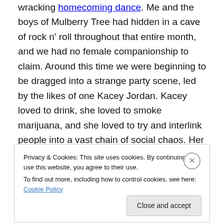wracking homecoming dance. Me and the boys of Mulberry Tree had hidden in a cave of rock n' roll throughout that entire month, and we had no female companionship to claim. Around this time we were beginning to be dragged into a strange party scene, led by the likes of one Kacey Jordan. Kacey loved to drink, she loved to smoke marijuana, and she loved to try and interlink people into a vast chain of social chaos. Her parents were constantly on business travel, so she had weekend parties more than anyone we had ever known. Again, I hadn't smoked pot for months, but began to get to
Privacy & Cookies: This site uses cookies. By continuing to use this website, you agree to their use.
To find out more, including how to control cookies, see here: Cookie Policy